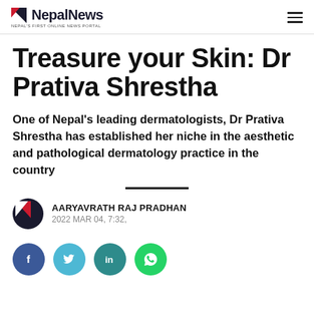NepalNews — NEPAL'S FIRST ONLINE NEWS PORTAL
Treasure your Skin: Dr Prativa Shrestha
One of Nepal's leading dermatologists, Dr Prativa Shrestha has established her niche in the aesthetic and pathological dermatology practice in the country
AARYAVRATH RAJ PRADHAN
2022 MAR 04, 7:32,
[Figure (infographic): Social sharing buttons: Facebook (blue), Twitter (light blue), LinkedIn (teal), WhatsApp (green)]